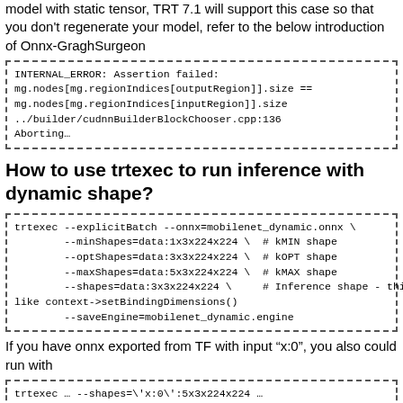model with static tensor, TRT 7.1 will support this case so that you don't regenerate your model, refer to the below introduction of Onnx-GraghSurgeon
[Figure (screenshot): Code block showing INTERNAL_ERROR assertion failure message]
How to use trtexec to run inference with dynamic shape?
[Figure (screenshot): Code block showing trtexec command with dynamic shape options]
If you have onnx exported from TF with input “x:0”, you also could run with
[Figure (screenshot): Code block showing trtexec with x:0 shape argument]